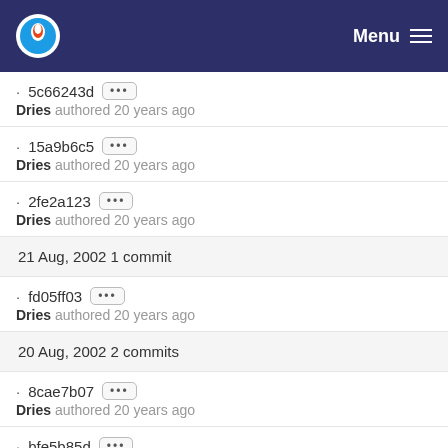Menu
· 5c66243d  Dries authored 20 years ago
· 15a9b6c5  Dries authored 20 years ago
· 2fe2a123  Dries authored 20 years ago
21 Aug, 2002 1 commit
· fd05ff03  Dries authored 20 years ago
20 Aug, 2002 2 commits
· 8cae7b07  Dries authored 20 years ago
· bfe5b85d